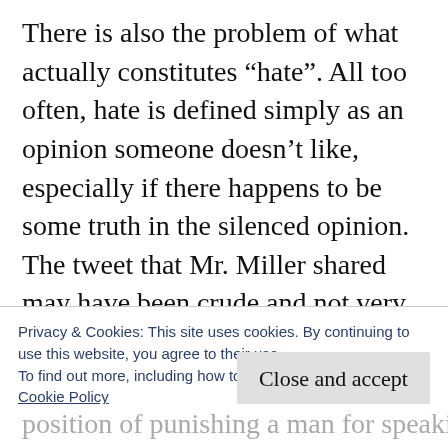There is also the problem of what actually constitutes “hate”. All too often, hate is defined simply as an opinion someone doesn’t like, especially if there happens to be some truth in the silenced opinion. The tweet that Mr. Miller shared may have been crude and not very nice, but it does express a truth. Gender is a biological fact, not a matter of personal choice. It is not possible to change gender, no matter how strongly a person feels as though they are really the opposite gender. A
Privacy & Cookies: This site uses cookies. By continuing to use this website, you agree to their use.
To find out more, including how to control cookies, see here: Cookie Policy
Close and accept
position of punishing a man for speaking a